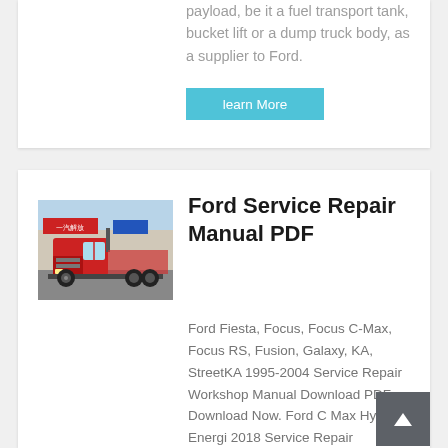payload, be it a fuel transport tank, bucket lift or a dump truck body, as a supplier to Ford.
learn More
[Figure (photo): Red semi-truck cab (tractor unit) parked in front of a building with a blue sign. The truck is a large commercial vehicle with a red cab.]
Ford Service Repair Manual PDF
Ford Fiesta, Focus, Focus C-Max, Focus RS, Fusion, Galaxy, KA, StreetKA 1995-2004 Service Repair Workshop Manual Download PDF Download Now. Ford C Max Hybrid Energi 2018 Service Repair Workshop Manual Download PDF